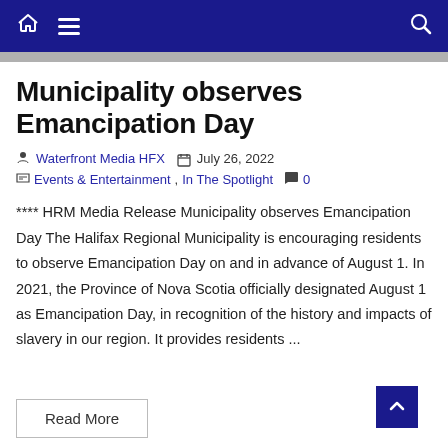Navigation bar with home, menu, and search icons
Municipality observes Emancipation Day
Waterfront Media HFX   July 26, 2022
Events & Entertainment,  In The Spotlight   0
**** HRM Media Release Municipality observes Emancipation Day The Halifax Regional Municipality is encouraging residents to observe Emancipation Day on and in advance of August 1. In 2021, the Province of Nova Scotia officially designated August 1 as Emancipation Day, in recognition of the history and impacts of slavery in our region. It provides residents ...
Read More